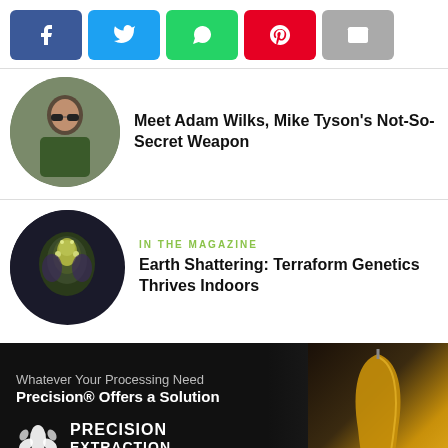[Figure (other): Social media share buttons: Facebook (blue), Twitter (cyan), WhatsApp (green), Pinterest (red), Email (grey)]
[Figure (photo): Circular thumbnail of a man with sunglasses and a beard in a contemplative pose outdoors]
Meet Adam Wilks, Mike Tyson's Not-So-Secret Weapon
[Figure (photo): Circular thumbnail of a close-up cannabis flower bud]
IN THE MAGAZINE
Earth Shattering: Terraform Genetics Thrives Indoors
[Figure (other): Advertisement banner for Precision Extraction by Agrify. Text: Whatever Your Processing Need, Precision® Offers a Solution. Logo with leaf icon. Photo of amber cannabis extract on a tool on the right side.]